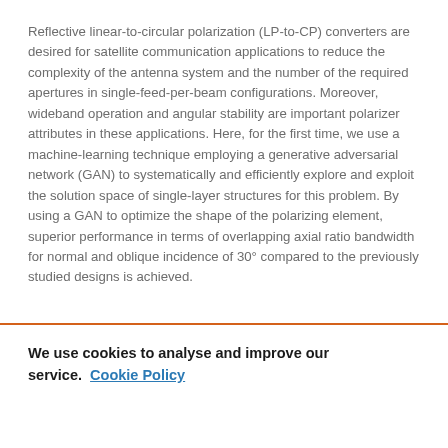Reflective linear-to-circular polarization (LP-to-CP) converters are desired for satellite communication applications to reduce the complexity of the antenna system and the number of the required apertures in single-feed-per-beam configurations. Moreover, wideband operation and angular stability are important polarizer attributes in these applications. Here, for the first time, we use a machine-learning technique employing a generative adversarial network (GAN) to systematically and efficiently explore and exploit the solution space of single-layer structures for this problem. By using a GAN to optimize the shape of the polarizing element, superior performance in terms of overlapping axial ratio bandwidth for normal and oblique incidence of 30° compared to the previously studied designs is achieved.
We use cookies to analyse and improve our service. Cookie Policy